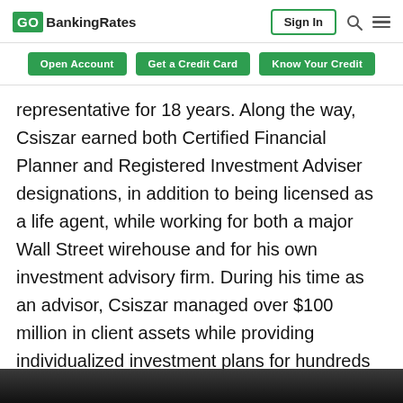GOBankingRates | Sign In
Open Account | Get a Credit Card | Know Your Credit
representative for 18 years. Along the way, Csiszar earned both Certified Financial Planner and Registered Investment Adviser designations, in addition to being licensed as a life agent, while working for both a major Wall Street wirehouse and for his own investment advisory firm. During his time as an advisor, Csiszar managed over $100 million in client assets while providing individualized investment plans for hundreds of clients.
[Figure (photo): Dark photographic image strip at the bottom of the page]